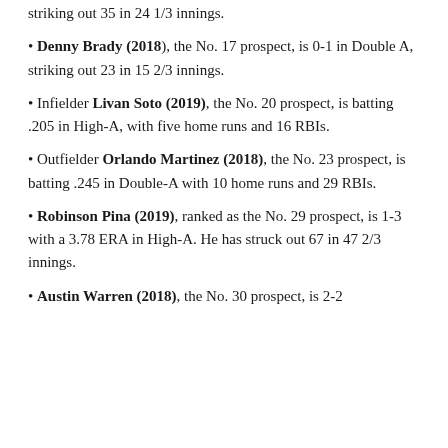striking out 35 in 24 1/3 innings.
Denny Brady (2018), the No. 17 prospect, is 0-1 in Double A, striking out 23 in 15 2/3 innings.
Infielder Livan Soto (2019), the No. 20 prospect, is batting .205 in High-A, with five home runs and 16 RBIs.
Outfielder Orlando Martinez (2018), the No. 23 prospect, is batting .245 in Double-A with 10 home runs and 29 RBIs.
Robinson Pina (2019), ranked as the No. 29 prospect, is 1-3 with a 3.78 ERA in High-A. He has struck out 67 in 47 2/3 innings.
Austin Warren (2018), the No. 30 prospect, is 2-2